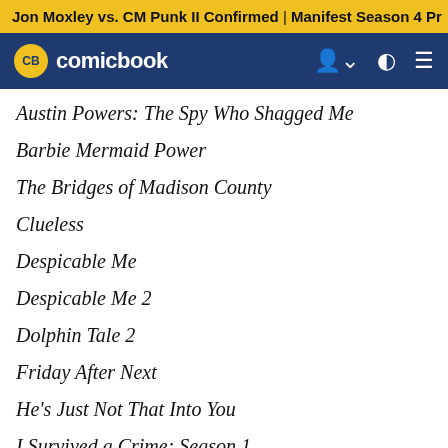Jon Moxley vs. CM Punk II Confirmed | Manifest Season 4 Pr
CB comicbook
Austin Powers: The Spy Who Shagged Me
Barbie Mermaid Power
The Bridges of Madison County
Clueless
Despicable Me
Despicable Me 2
Dolphin Tale 2
Friday After Next
He's Just Not That Into You
I Survived a Crime: Season 1
If Beale Street Could Talk